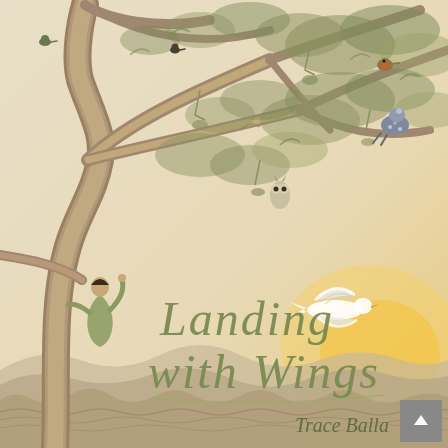[Figure (illustration): Book cover of 'Landing with Wings' by Trace Balla. Illustrated cover showing a large eucalyptus tree on the left with a child climbing it, various birds perched in the branches (including owls, a robin, and a guinea fowl). The title 'Landing with Wings' is written in hand-lettered olive/sage green script in the centre. Author name 'Trace Balla' in cursive below the title. A white bird in flight to the right. Sunset sky with warm golden tones on the right. Rolling hills at the bottom. A quote from Bruce Pascoe at the bottom left.]
Landing with Wings
Trace Balla
'Another lovely adventure from Trace Balla. Rich in country and family, deep in care for the future' Bruce Pascoe